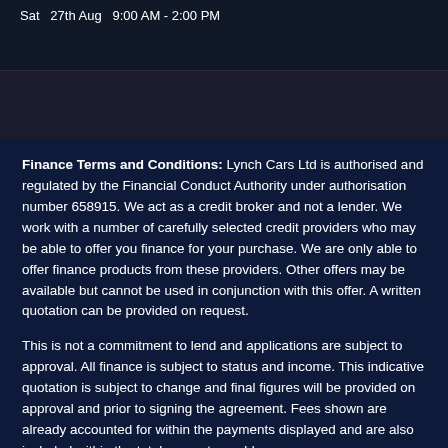Sat  27th Aug  9:00 AM - 2:00 PM
[Figure (photo): Dark background image area below the date header]
Finance Terms and Conditions: Lynch Cars Ltd is authorised and regulated by the Financial Conduct Authority under authorisation number 658915. We act as a credit broker and not a lender. We work with a number of carefully selected credit providers who may be able to offer you finance for your purchase. We are only able to offer finance products from these providers. Other offers may be available but cannot be used in conjunction with this offer. A written quotation can be provided on request.
This is not a commitment to lend and applications are subject to approval. All finance is subject to status and income. This indicative quotation is subject to change and final figures will be provided on approval and prior to signing the agreement. Fees shown are already accounted for within the payments displayed and are also included within the total amount payable.
Commissions Disclosure: Lynch Cars Ltd confirm the existence of